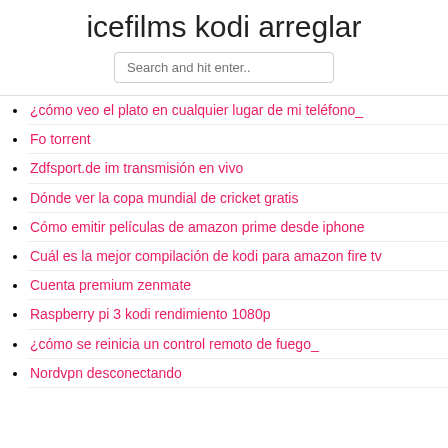icefilms kodi arreglar
¿cómo veo el plato en cualquier lugar de mi teléfono_
Fo torrent
Zdfsport.de im transmisión en vivo
Dónde ver la copa mundial de cricket gratis
Cómo emitir películas de amazon prime desde iphone
Cuál es la mejor compilación de kodi para amazon fire tv
Cuenta premium zenmate
Raspberry pi 3 kodi rendimiento 1080p
¿cómo se reinicia un control remoto de fuego_
Nordvpn desconectando